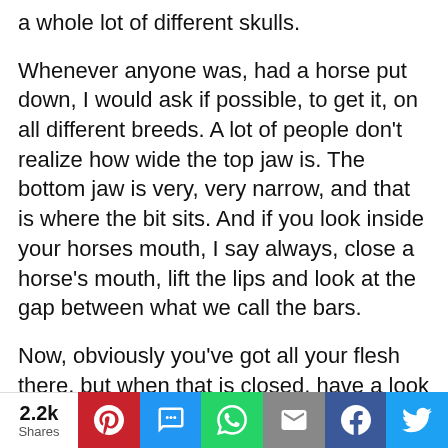a whole lot of different skulls.
Whenever anyone was, had a horse put down, I would ask if possible, to get it, on all different breeds. A lot of people don't realize how wide the top jaw is. The bottom jaw is very, very narrow, and that is where the bit sits. And if you look inside your horses mouth, I say always, close a horse's mouth, lift the lips and look at the gap between what we call the bars.
Now, obviously you've got all your flesh there, but when that is closed, have a look at the gap between the bars and it's generally the thickness of a man's forefinger, which is 16
2.2k Shares